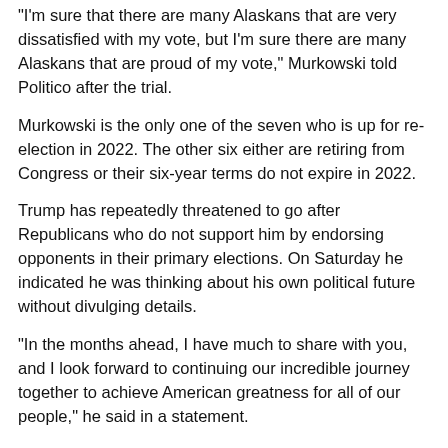"I'm sure that there are many Alaskans that are very dissatisfied with my vote, but I'm sure there are many Alaskans that are proud of my vote," Murkowski told Politico after the trial.
Murkowski is the only one of the seven who is up for re-election in 2022. The other six either are retiring from Congress or their six-year terms do not expire in 2022.
Trump has repeatedly threatened to go after Republicans who do not support him by endorsing opponents in their primary elections. On Saturday he indicated he was thinking about his own political future without divulging details.
"In the months ahead, I have much to share with you, and I look forward to continuing our incredible journey together to achieve American greatness for all of our people," he said in a statement.
Trump is the only president in US history to be impeached twice.